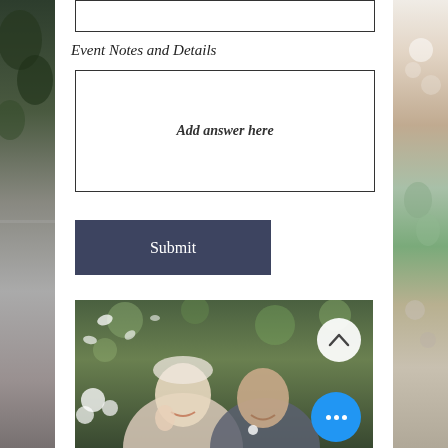(input box - top)
Event Notes and Details
Add answer here
Submit
[Figure (photo): Wedding photo of a smiling bride and groom outdoors surrounded by white flowers, with a circular back-to-top chevron button and a blue more-options button overlaid]